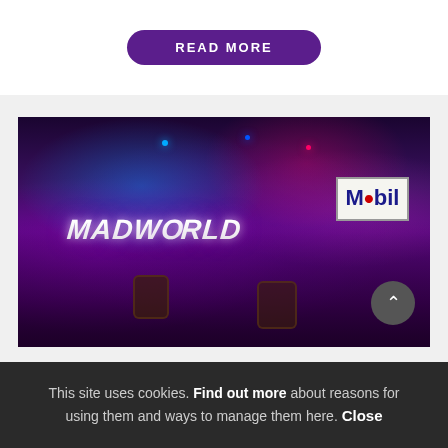READ MORE
[Figure (photo): Indoor venue event photo showing a crowd of people at a MadWorld themed event with purple/violet lighting, a large MadWorld sign on the left, a Mobil sign on the upper right, string lights, and wooden barrels used as tables]
This site uses cookies. Find out more about reasons for using them and ways to manage them here. Close